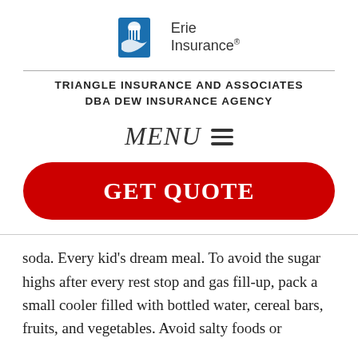[Figure (logo): Erie Insurance logo with blue building icon and text]
TRIANGLE INSURANCE AND ASSOCIATES DBA DEW INSURANCE AGENCY
MENU ≡
GET QUOTE
soda. Every kid's dream meal. To avoid the sugar highs after every rest stop and gas fill-up, pack a small cooler filled with bottled water, cereal bars, fruits, and vegetables. Avoid salty foods or